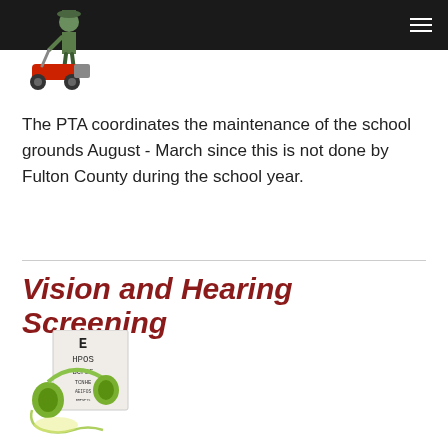[Figure (illustration): Cartoon illustration of a person mowing grass with a red lawn mower]
The PTA coordinates the maintenance of the school grounds August - March since this is not done by Fulton County during the school year.
Vision and Hearing Screening
[Figure (illustration): Illustration of an eye chart with green headphones in front of it, representing vision and hearing screening]